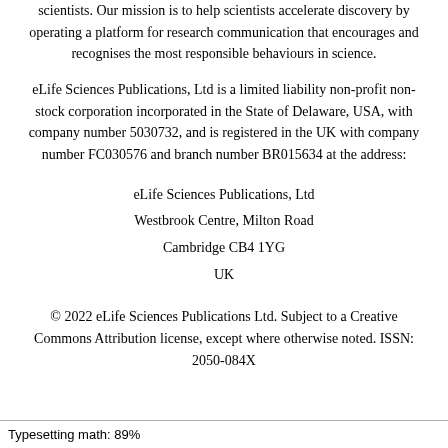scientists. Our mission is to help scientists accelerate discovery by operating a platform for research communication that encourages and recognises the most responsible behaviours in science.
eLife Sciences Publications, Ltd is a limited liability non-profit non-stock corporation incorporated in the State of Delaware, USA, with company number 5030732, and is registered in the UK with company number FC030576 and branch number BR015634 at the address:
eLife Sciences Publications, Ltd
Westbrook Centre, Milton Road
Cambridge CB4 1YG
UK
© 2022 eLife Sciences Publications Ltd. Subject to a Creative Commons Attribution license, except where otherwise noted. ISSN: 2050-084X
Typesetting math: 89%